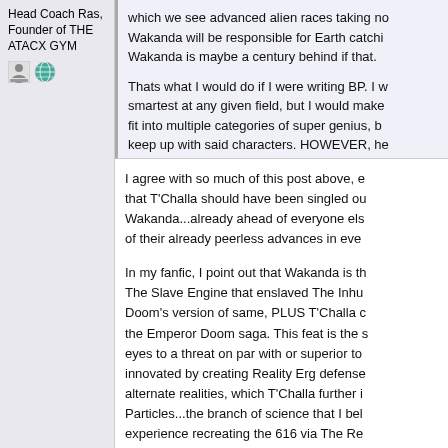Head Coach Ras, Founder of THE ATACX GYM
[Figure (illustration): User icon and globe/world icon]
which we see advanced alien races taking no... Wakanda will be responsible for Earth catchi... Wakanda is maybe a century behind if that.
Thats what I would do if I were writing BP. I w... smartest at any given field, but I would make... fit into multiple categories of super genius, b... keep up with said characters. HOWEVER, he... most underestimated man alive which would...
I agree with so much of this post above, e... that T'Challa should have been singled ou... Wakanda...already ahead of everyone els... of their already peerless advances in eve...
In my fanfic, I point out that Wakanda is th... The Slave Engine that enslaved The Inhu... Doom's version of same, PLUS T'Challa c... the Emperor Doom saga. This feat is the s... eyes to a threat on par with or superior to... innovated by creating Reality Erg defense... alternate realities, which T'Challa further i... Particles...the branch of science that I bel... experience recreating the 616 via The Re... unconquered in EVERY reality that didn't... controlling interstellar Empire of ignoble...